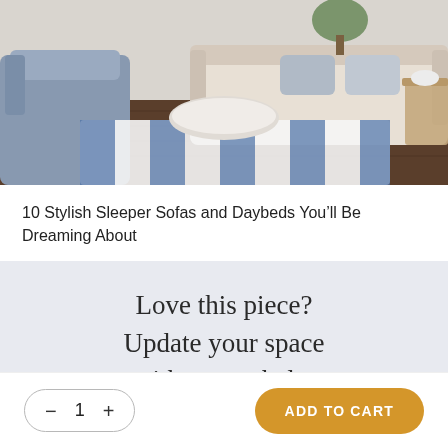[Figure (photo): Interior living room photo showing blue/grey armchairs, a white sofa, striped blue and white rug on dark wood floor, with a round white coffee table and side table with plant.]
10 Stylish Sleeper Sofas and Daybeds You'll Be Dreaming About
Love this piece? Update your space with expert help.
ADD TO CART